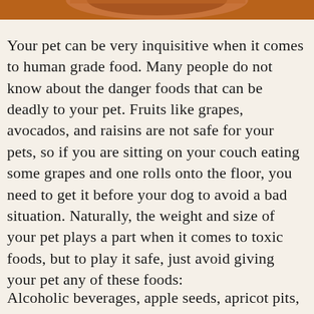[Figure (photo): Partial view of a brown/rust-colored pet (dog or cat) photographed from above, cropped at the top of the page]
Your pet can be very inquisitive when it comes to human grade food. Many people do not know about the danger foods that can be deadly to your pet. Fruits like grapes, avocados, and raisins are not safe for your pets, so if you are sitting on your couch eating some grapes and one rolls onto the floor, you need to get it before your dog to avoid a bad situation. Naturally, the weight and size of your pet plays a part when it comes to toxic foods, but to play it safe, just avoid giving your pet any of these foods:
Alcoholic beverages, apple seeds, apricot pits, avocados, cherry pits, candy,